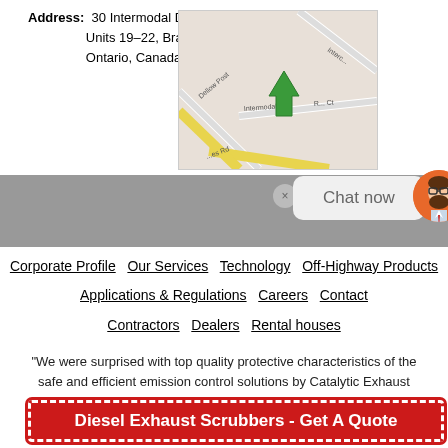Address: 30 Intermodal Drive, Units 19–22, Brampton, Ontario, Canada L6T 5K1
[Figure (map): Street map showing location of 30 Intermodal Drive, Brampton, Ontario with a green arrow/pin marker on Intermodal Drive.]
[Figure (screenshot): Chat now widget with avatar of a bearded man and a chat bubble saying 'Chat now', with a close button.]
Corporate Profile  Our Services  Technology  Off-Highway Products  Applications & Regulations  Careers  Contact  Contractors  Dealers  Rental houses
"We were surprised with top quality protective characteristics of the safe and efficient emission control solutions by Catalytic Exhaust
Diesel Exhaust Scrubbers - Get A Quote